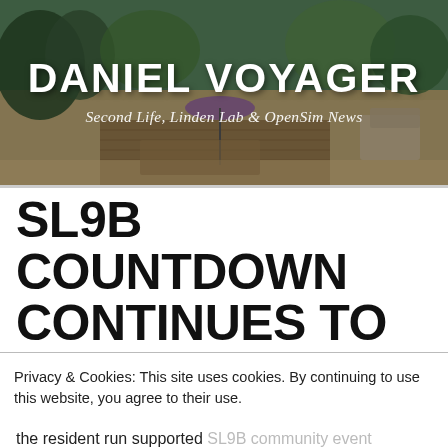[Figure (photo): Blog header banner showing a virtual Second Life scene with trees, sand, and outdoor furniture, overlaid with blog title and subtitle]
DANIEL VOYAGER
Second Life, Linden Lab & OpenSim News
SL9B COUNTDOWN CONTINUES TO TICK DOWN
Privacy & Cookies: This site uses cookies. By continuing to use this website, you agree to their use.
To find out more, including how to control cookies, see here: Cookie Policy
Close and accept
the resident run supported SL9B community event